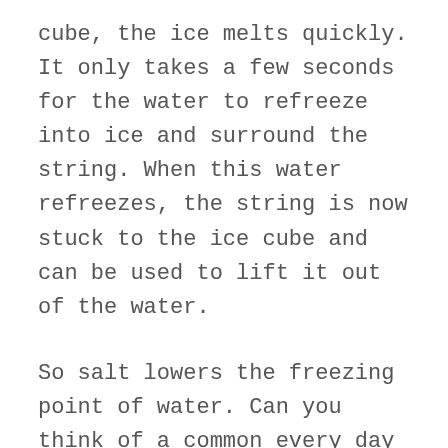cube, the ice melts quickly. It only takes a few seconds for the water to refreeze into ice and surround the string. When this water refreezes, the string is now stuck to the ice cube and can be used to lift it out of the water.
So salt lowers the freezing point of water. Can you think of a common every day scenario where this fact is useful? How about during winter snowfalls when roads and sidewalks